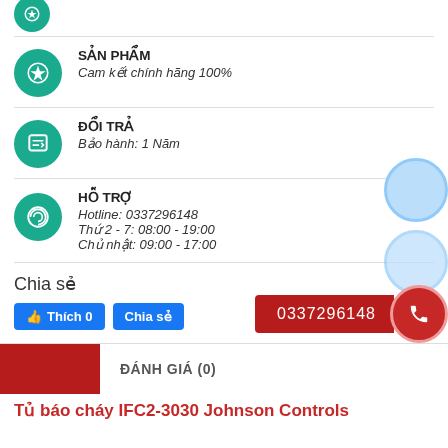SẢN PHẨM
Cam kết chính hãng 100%
ĐỔI TRẢ
Bảo hành: 1 Năm
HỖ TRỢ
Hotline: 0337296148
Thứ 2 - 7: 08:00 - 19:00
Chủ nhật: 09:00 - 17:00
Chia sẻ
0337296148
ĐÁNH GIÁ (0)
Tủ báo cháy IFC2-3030 Johnson Controls